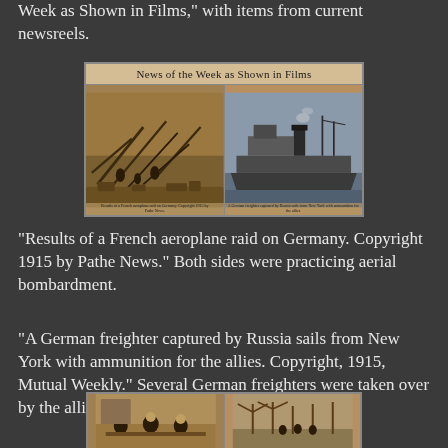Week as Shown in Films," with items from current newsreels.
[Figure (photo): Newspaper clipping titled 'News of the Week as Shown in Films' showing two sepia photographs: left image shows results of a French aeroplane raid on Germany (Copyright 1915 by Pathe News), right image shows a German freighter captured by Russia sailing from New York with ammunition for the allies (Copyright 1915, Mutual Weekly).]
"Results of a French aeroplane raid on Germany.  Copyright 1915 by Pathe News."  Both sides were practicing aerial bombardment.
"A German freighter captured by Russia sails from New York with ammunition for the allies.  Copyright, 1915, Mutual Weekly."  Several German freighters were taken over by the allies.
[Figure (photo): Bottom portion of another newspaper newsreel image showing two sepia photographs of people, partially visible at page bottom.]